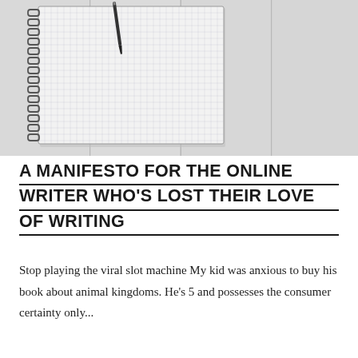[Figure (photo): A spiral-bound notebook with grid paper open to a blank page, a pen resting on it, placed on a white wood-paneled surface]
A MANIFESTO FOR THE ONLINE WRITER WHO'S LOST THEIR LOVE OF WRITING
Stop playing the viral slot machine My kid was anxious to buy his book about animal kingdoms. He's 5 and possesses the consumer certainty only...